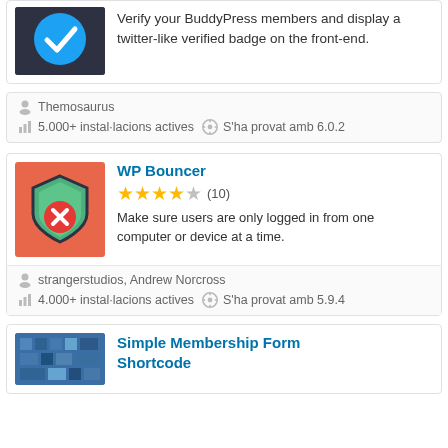[Figure (screenshot): Partial top card: plugin icon (blue circular checkmark on dark background) and description text]
Verify your BuddyPress members and display a twitter-like verified badge on the front-end.
Themosaurus
5.000+ instal·lacions actives   S'ha provat amb 6.0.2
[Figure (illustration): WP Bouncer plugin icon: orange/coral background with green shield and red circle with X]
WP Bouncer
★★★★☆ (10)
Make sure users are only logged in from one computer or device at a time.
strangerstudios, Andrew Norcross
4.000+ instal·lacions actives   S'ha provat amb 5.9.4
[Figure (screenshot): Partial bottom card showing Simple Membership Form Shortcode plugin icon (blue pixelated image)]
Simple Membership Form Shortcode